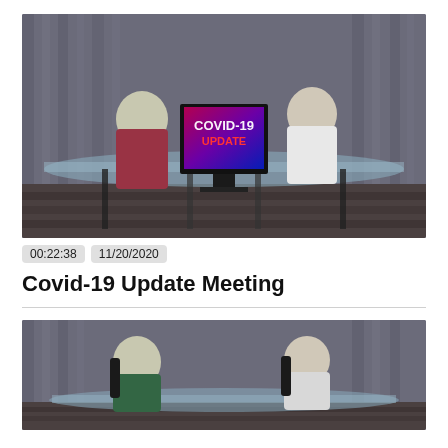[Figure (screenshot): A broadcast studio scene showing two people seated at a glass desk in front of a monitor displaying 'COVID-19 UPDATE' text on a colorful background. Gray curtain backdrop.]
00:22:38  11/20/2020
Covid-19 Update Meeting
[Figure (screenshot): A second broadcast studio scene showing two people seated at a desk, similar studio setting with gray curtain backdrop.]